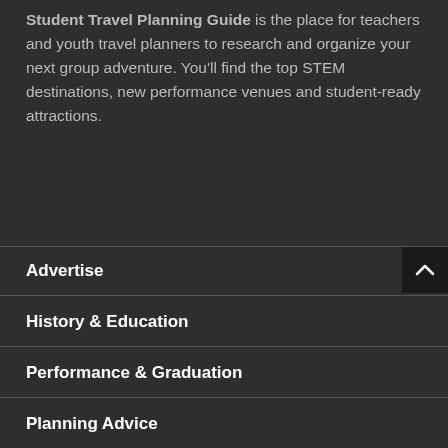Student Travel Planning Guide is the place for teachers and youth travel planners to research and organize your next group adventure. You'll find the top STEM destinations, new performance venues and student-ready attractions.
Advertise
History & Education
Performance & Graduation
Planning Advice